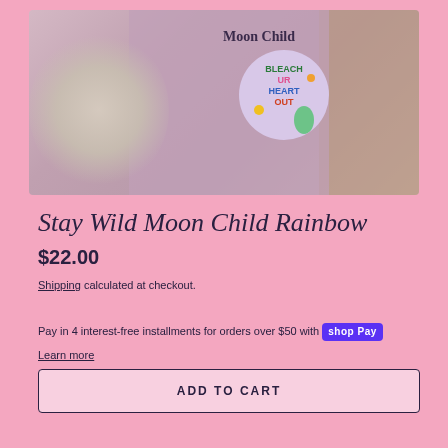[Figure (photo): Product photo showing a mauve/pink 'Stay Wild Moon Child' t-shirt, a white lace bralette, a brown waffle knit fabric, and a circular sticker reading 'Bleach UR Heart Out' with colorful graphic art]
Stay Wild Moon Child Rainbow
$22.00
Shipping calculated at checkout.
Pay in 4 interest-free installments for orders over $50 with Shop Pay
Learn more
ADD TO CART